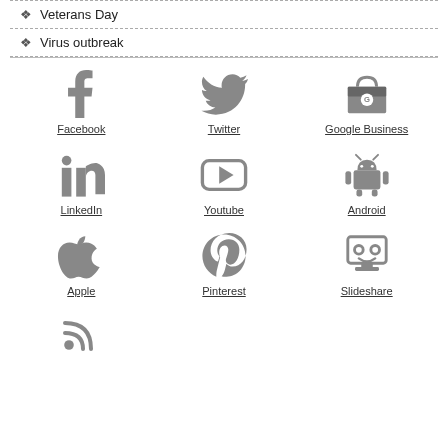Veterans Day
Virus outbreak
[Figure (infographic): Social media and platform icons grid: Facebook, Twitter, Google Business, LinkedIn, Youtube, Android, Apple, Pinterest, Slideshare, and RSS (partial). Each icon is shown above an underlined text label.]